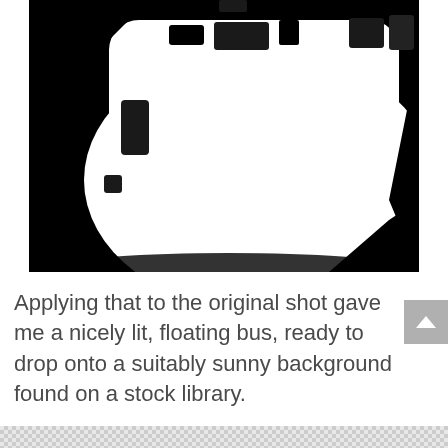[Figure (photo): High contrast black and white image of a bus (likely a Routemaster or similar bus) isolated against a black background — the bus appears white/light, showing its curved front and upper body, with dark sections for windows and details.]
Applying that to the original shot gave me a nicely lit, floating bus, ready to drop onto a suitably sunny background found on a stock library.
[Figure (other): Checkerboard transparency pattern strip at the bottom of the page, indicating a transparent or partially visible image below.]